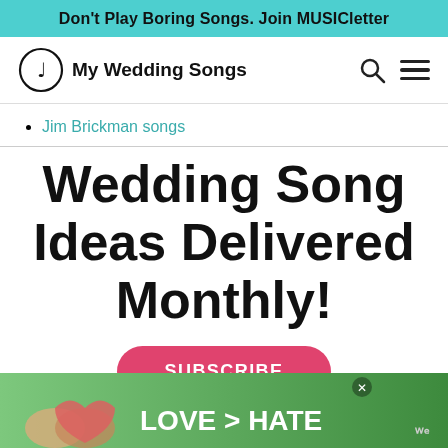Don't Play Boring Songs. Join MUSICletter
[Figure (logo): My Wedding Songs logo with musical note in circle and text]
Jim Brickman songs
Wedding Song Ideas Delivered Monthly!
SUBSCRIBE
[Figure (photo): Advertisement banner with hands forming heart shape and text LOVE > HATE]